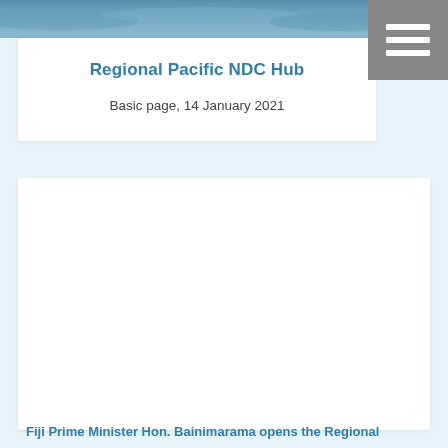[Figure (photo): Aerial or coastal ocean/water photograph used as page header banner]
Regional Pacific NDC Hub
Basic page, 14 January 2021
[Figure (photo): Large white/empty content area placeholder image]
Fiji Prime Minister Hon. Bainimarama opens the Regional